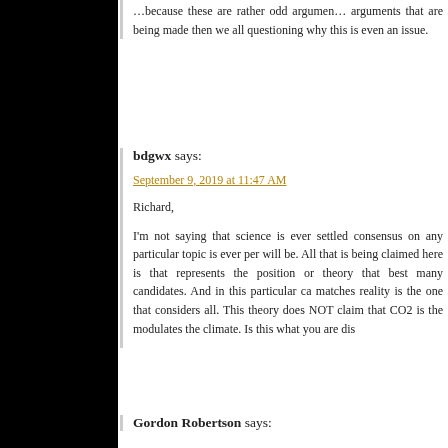…because these are rather odd arguments… arguments that are being made then we all questioning why this is even an issue.
bdgwx says:
September 9, 2019 at 11:47 AM
Richard,

I'm not saying that science is ever settled consensus on any particular topic is ever per will be. All that is being claimed here is that represents the position or theory that best many candidates. And in this particular ca matches reality is the one that considers all. This theory does NOT claim that CO2 is the modulates the climate. Is this what you are dis
Gordon Robertson says: